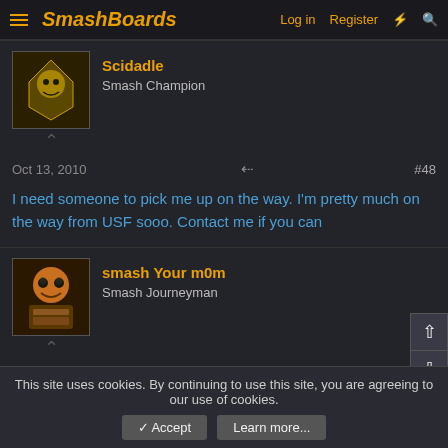SmashBoards — Log in  Register
Scidadle
Smash Champion
Oct 13, 2010   #48
I need someone to pick me up on the way. I'm pretty much on the way from USF sooo. Contact me if you can
smash Your m0m
Smash Journeyman
Oct 13, 2010   #49
eddddddd pick up scid...u have toooo my niggggga
Эикельманн [РУС]
Banned via Administration
This site uses cookies. By continuing to use this site, you are agreeing to our use of cookies.